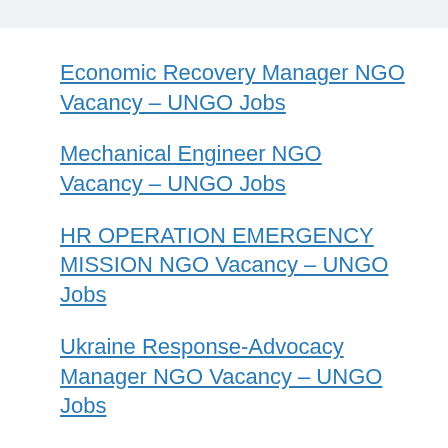Economic Recovery Manager NGO Vacancy – UNGO Jobs
Mechanical Engineer NGO Vacancy – UNGO Jobs
HR OPERATION EMERGENCY MISSION NGO Vacancy – UNGO Jobs
Ukraine Response-Advocacy Manager NGO Vacancy – UNGO Jobs
Circuit Ride Specialist – South Africa National Hire NGO Vacancy – UNGO Jobs